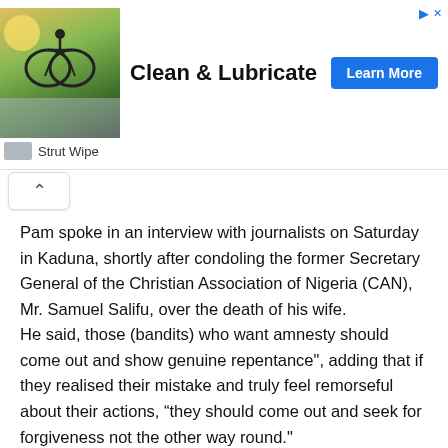[Figure (photo): Advertisement banner: cyclist riding a bicycle on a road, with text 'Clean & Lubricate' and a 'Learn More' button. Brand: Strut Wipe.]
Pam spoke in an interview with journalists on Saturday in Kaduna, shortly after condoling the former Secretary General of the Christian Association of Nigeria (CAN), Mr. Samuel Salifu, over the death of his wife.
He said, those (bandits) who want amnesty should come out and show genuine repentance", adding that if they realised their mistake and truly feel remorseful about their actions, “they should come out and seek for forgiveness not the other way round."
“It...